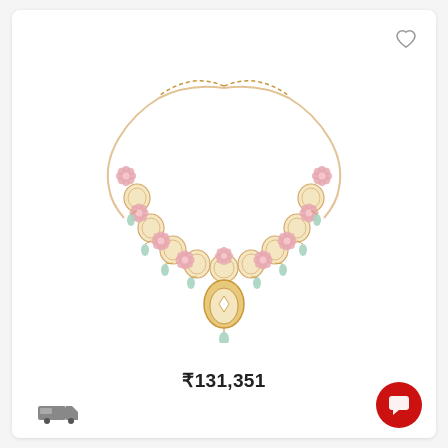[Figure (photo): A gold necklace with pink floral motifs, cream/ivory circular disc elements, mint/teal green gemstone drops, and a central gold oval pendant with a diamond-shaped stone and a teal drop at the bottom. Chain extends from both sides. Product is on a white background.]
₹131,351